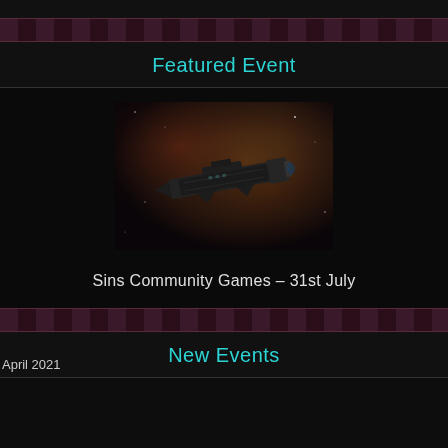Featured Event
[Figure (photo): Dark science fiction spaceship flying through a nebula/space background]
Sins Community Games – 31st July
New Events
April 2021